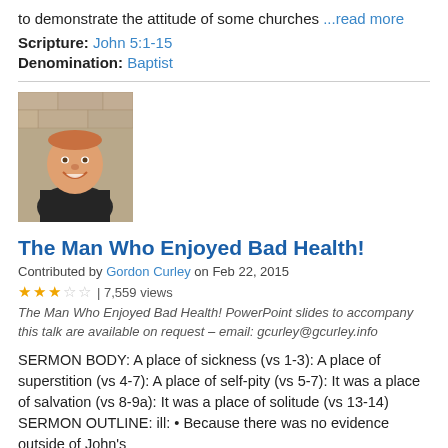to demonstrate the attitude of some churches ...read more
Scripture: John 5:1-15
Denomination: Baptist
[Figure (photo): Portrait photo of Gordon Curley, a smiling older man in a dark jacket against a stone wall background]
The Man Who Enjoyed Bad Health!
Contributed by Gordon Curley on Feb 22, 2015
★★★☆☆ | 7,559 views
The Man Who Enjoyed Bad Health! PowerPoint slides to accompany this talk are available on request – email: gcurley@gcurley.info
SERMON BODY: A place of sickness (vs 1-3): A place of superstition (vs 4-7): A place of self-pity (vs 5-7): It was a place of salvation (vs 8-9a): It was a place of solitude (vs 13-14) SERMON OUTLINE: ill: • Because there was no evidence outside of John's
...read more